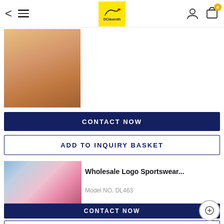[Figure (screenshot): Mobile e-commerce app header with back arrow, hamburger menu, yellow logo, user icon, and cart icon with badge showing 0]
[Figure (photo): Close-up of woman wearing tan/orange crop sports top]
CONTACT NOW
ADD TO INQUIRY BASKET
[Figure (photo): Woman in pink activewear set next to a pink bicycle outdoors]
Wholesale Logo Sportswear...
Model NO. DL463
CONTACT NOW
ADD TO INQUIRY BASKET